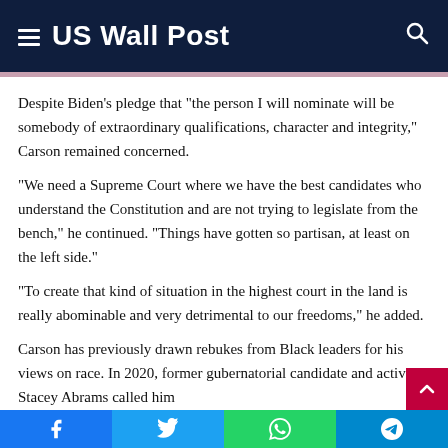US Wall Post
Despite Biden's pledge that “the person I will nominate will be somebody of extraordinary qualifications, character and integrity,” Carson remained concerned.
“We need a Supreme Court where we have the best candidates who understand the Constitution and are not trying to legislate from the bench,” he continued. “Things have gotten so partisan, at least on the left side.”
“To create that kind of situation in the highest court in the land is really abominable and very detrimental to our freedoms,” he added.
Carson has previously drawn rebukes from Black leaders for his views on race. In 2020, former gubernatorial candidate and activist Stacey Abrams called him
Facebook | Twitter | WhatsApp | Telegram